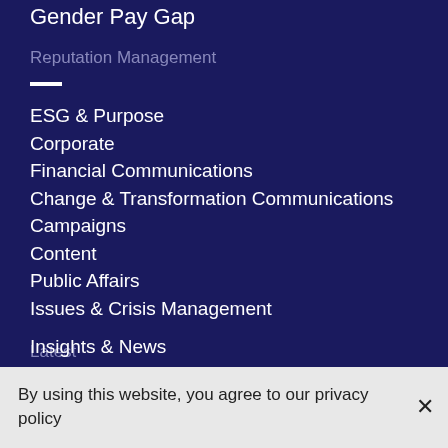Gender Pay Gap
Reputation Management
ESG & Purpose
Corporate
Financial Communications
Change & Transformation Communications
Campaigns
Content
Public Affairs
Issues & Crisis Management
Latest
By using this website, you agree to our privacy policy
Insights & News